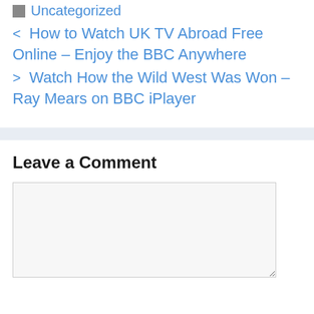Uncategorized
< How to Watch UK TV Abroad Free Online – Enjoy the BBC Anywhere
> Watch How the Wild West Was Won – Ray Mears on BBC iPlayer
Leave a Comment